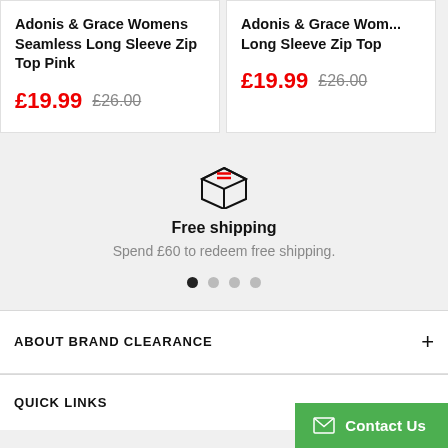Adonis & Grace Womens Seamless Long Sleeve Zip Top Pink
£19.99  £26.00
Adonis & Grace Womens Seamless Long Sleeve Zip Top
£19.99  £26.00
[Figure (illustration): Box/package icon with red stripe lines on top]
Free shipping
Spend £60 to redeem free shipping.
ABOUT BRAND CLEARANCE
QUICK LINKS
Contact Us